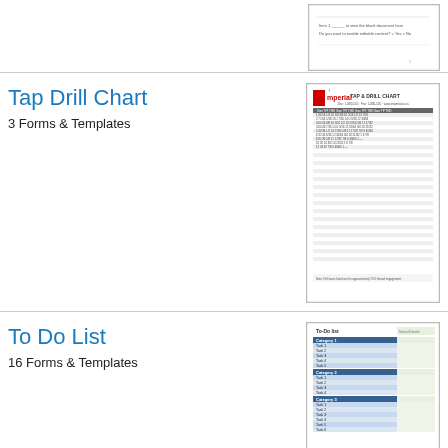[Figure (screenshot): Partial thumbnail of a document form, cut off at top of page]
Tap Drill Chart
3 Forms & Templates
[Figure (screenshot): Thumbnail of a Tap & Drill Chart document from Imperial, showing a data table with multiple columns]
To Do List
16 Forms & Templates
[Figure (screenshot): Thumbnail of a To-do list spreadsheet with blue header rows and striped rows]